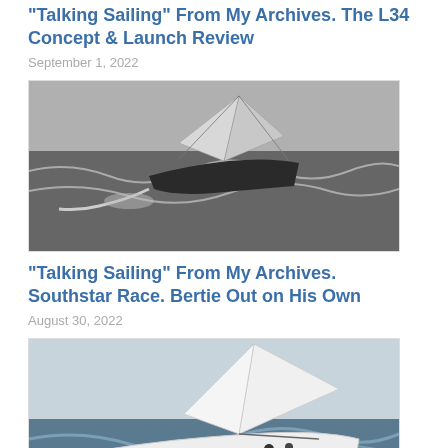“Talking Sailing” From My Archives. The L34 Concept & Launch Review
September 1, 2022
[Figure (photo): Black and white aerial photograph of a sailing yacht heeling in rough seas, viewed from above showing the bow and sails.]
“Talking Sailing” From My Archives. Southstar Race. Bertie Out on His Own
August 30, 2022
[Figure (photo): Color photograph of a sailing yacht named Seaboard Energy under full sail in choppy waters, with crew visible on deck.]
“Talking Sailing” From My Archives. Singlehanded to St Helena & Back + More…